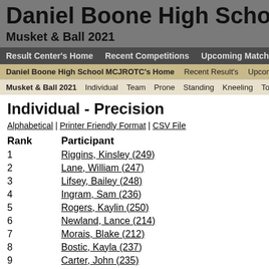Daniel Boone High School — Musket & Ball 2021
Result Center's Home | Recent Competitions | Upcoming Matches | Team
Daniel Boone High School MCJROTC's Home | Recent Result's | Upcoming Matches
Musket & Ball 2021 | Individual | Team | Prone | Standing | Kneeling | Tools
Individual - Precision
Alphabetical | Printer Friendly Format | CSV File
| Rank | Participant |
| --- | --- |
| 1 | Riggins, Kinsley (249) |
| 2 | Lane, William (247) |
| 3 | Lifsey, Bailey (248) |
| 4 | Ingram, Sam (236) |
| 5 | Rogers, Kaylin (250) |
| 6 | Newland, Lance (214) |
| 7 | Morais, Blake (212) |
| 8 | Bostic, Kayla (237) |
| 9 | Carter, John (235) |
| 10 | Bullard, Jack (238) |
| 11 | Nelson, Clayton (213) |
| 12 | Williams, Brennan (215) |